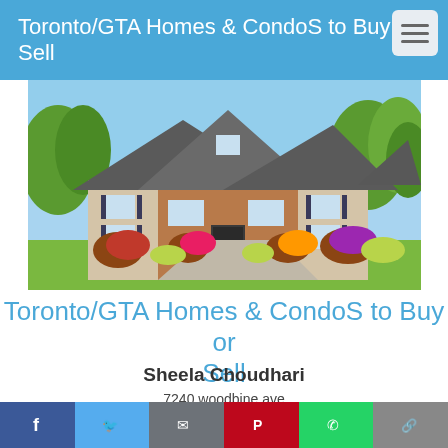Toronto/GTA Homes & CondoS to Buy or Sell
[Figure (photo): Exterior photo of a large two-storey brick and siding house with multiple gabled rooflines, surrounded by colourful flowering shrubs and trees in full leaf on a sunny day.]
Toronto/GTA Homes & CondoS to Buy or Sell
Sheela Choudhari
7240 woodbine ave
Markham, ON L6C 3H4

Cell: 647-888-7788